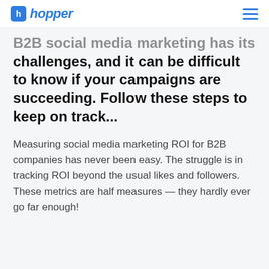hopper
B2B social media marketing has its challenges, and it can be difficult to know if your campaigns are succeeding. Follow these steps to keep on track...
Measuring social media marketing ROI for B2B companies has never been easy. The struggle is in tracking ROI beyond the usual likes and followers. These metrics are half measures — they hardly ever go far enough!